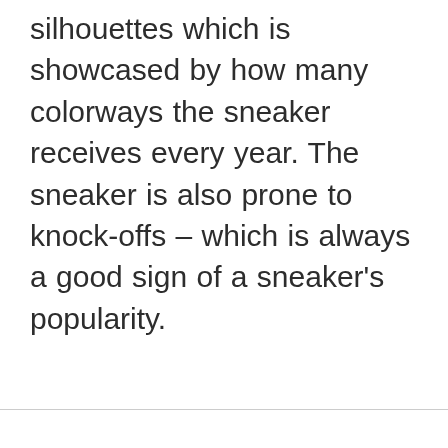silhouettes which is showcased by how many colorways the sneaker receives every year. The sneaker is also prone to knock-offs – which is always a good sign of a sneaker's popularity.